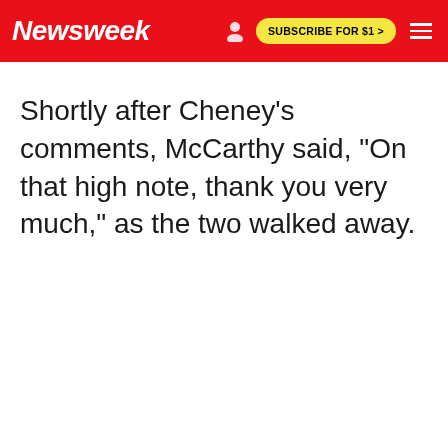Newsweek | SUBSCRIBE FOR $1 >
Shortly after Cheney's comments, McCarthy said, "On that high note, thank you very much," as the two walked away.